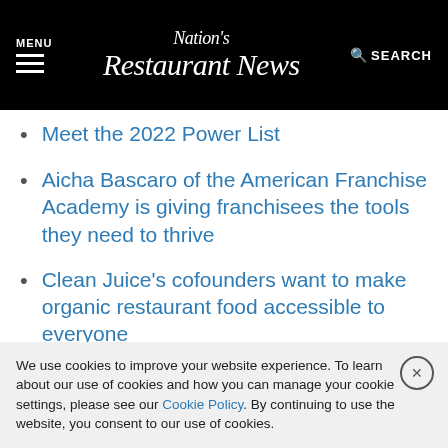MENU | Nation's Restaurant News | SEARCH
Meet the 2022 Power List
Aicha Bascaro of the American Franchise Academy is giving franchisees the tools they need to thrive
Clean Juice's cofounders want to make organic restaurant food accessible to everyone
Contact Bret Thorn at bret.thorn@informa.com
We use cookies to improve your website experience. To learn about our use of cookies and how you can manage your cookie settings, please see our Cookie Policy. By continuing to use the website, you consent to our use of cookies.